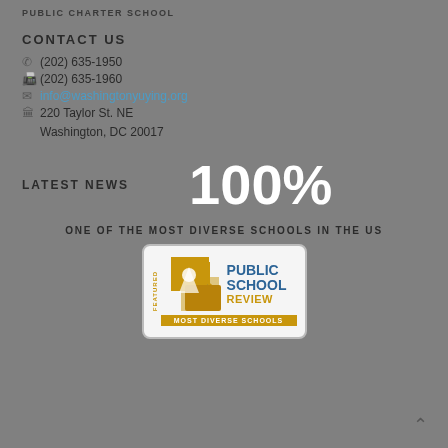PUBLIC CHARTER SCHOOL
CONTACT US
(202) 635-1950
(202) 635-1960
info@washingtonyuying.org
220 Taylor St. NE
Washington, DC 20017
LATEST NEWS
100%
ONE OF THE MOST DIVERSE SCHOOLS IN THE US
[Figure (logo): Featured badge from Public School Review - Most Diverse Schools]